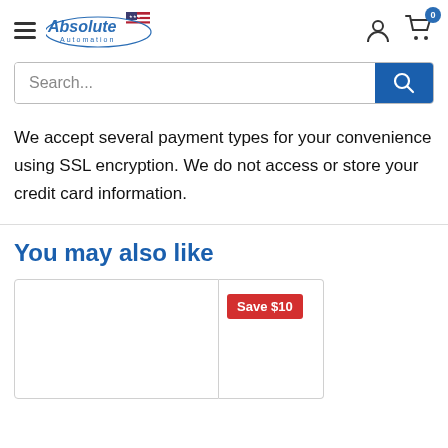Absolute Automation — navigation header with hamburger menu, logo, user icon, and cart (0)
Search...
We accept several payment types for your convenience using SSL encryption. We do not access or store your credit card information.
You may also like
[Figure (screenshot): Product card area showing two product tiles side by side; right tile has a red 'Save $10' badge]